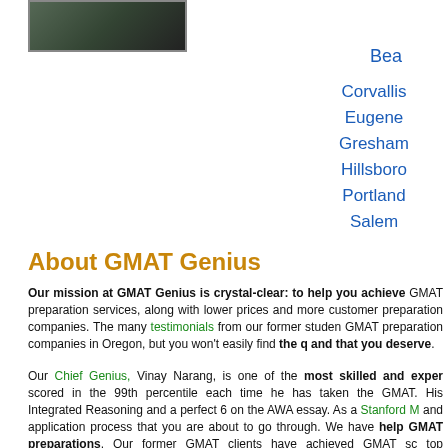[Figure (photo): Photo of person (top left)]
Bea
Corvallis
Eugene
Gresham
Hillsboro
Portland
Salem
About GMAT Genius
Our mission at GMAT Genius is crystal-clear: to help you achieve GMAT preparation services, along with lower prices and more customer preparation companies. The many testimonials from our former students GMAT preparation companies in Oregon, but you won't easily find the quality and that you deserve.
Our Chief Genius, Vinay Narang, is one of the most skilled and experienced scored in the 99th percentile each time he has taken the GMAT. His Integrated Reasoning and a perfect 6 on the AWA essay. As a Stanford M and application process that you are about to go through. We have helped GMAT preparations. Our former GMAT clients have achieved GMAT scores top business schools including Columbia, Harvard, Stanford, UCLA, USC
Free GMAT Prep Advice for Oregon GMAT Students
[Figure (photo): Photo of study materials/books]
GMAT Genius offers extensive free aspirants in Oregon to have the best GMAT. You will find well-organized